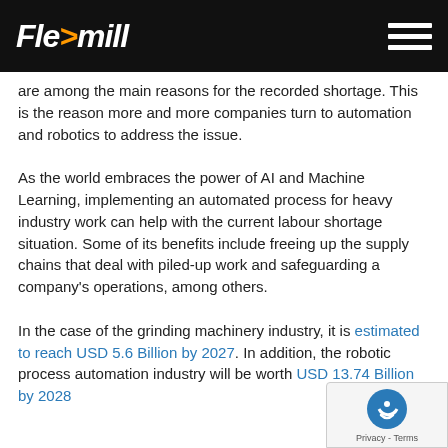Flexmill
are among the main reasons for the recorded shortage. This is the reason more and more companies turn to automation and robotics to address the issue.
As the world embraces the power of AI and Machine Learning, implementing an automated process for heavy industry work can help with the current labour shortage situation. Some of its benefits include freeing up the supply chains that deal with piled-up work and safeguarding a company's operations, among others.
In the case of the grinding machinery industry, it is estimated to reach USD 5.6 Billion by 2027. In addition, the robotic process automation industry will be worth USD 13.74 Billion by 2028.